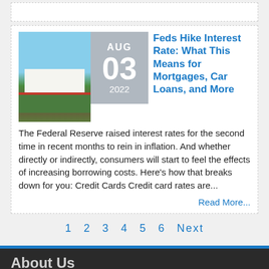[Figure (photo): Partial view of an article card border at top of page]
[Figure (photo): Photo of the White House with blue sky, green lawn, and red flower strip]
Feds Hike Interest Rate: What This Means for Mortgages, Car Loans, and More
The Federal Reserve raised interest rates for the second time in recent months to rein in inflation. And whether directly or indirectly, consumers will start to feel the effects of increasing borrowing costs. Here's how that breaks down for you: Credit Cards Credit card rates are...
Read More...
1  2  3  4  5  6  Next
About Us